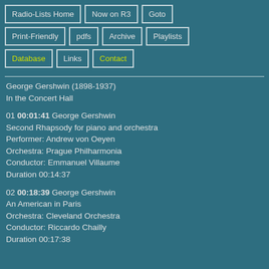Radio-Lists Home
Now on R3
Goto
Print-Friendly
pdfs
Archive
Playlists
Database
Links
Contact
George Gershwin (1898-1937)
In the Concert Hall
01 00:01:41 George Gershwin
Second Rhapsody for piano and orchestra
Performer: Andrew von Oeyen
Orchestra: Prague Philharmonia
Conductor: Emmanuel Villaume
Duration 00:14:37
02 00:18:39 George Gershwin
An American in Paris
Orchestra: Cleveland Orchestra
Conductor: Riccardo Chailly
Duration 00:17:38